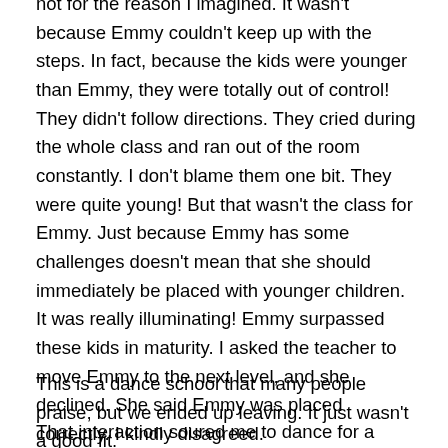not for the reason I imagined. It wasn't because Emmy couldn't keep up with the steps. In fact, because the kids were younger than Emmy, they were totally out of control! They didn't follow directions. They cried during the whole class and ran out of the room constantly. I don't blame them one bit. They were quite young! But that wasn't the class for Emmy. Just because Emmy has some challenges doesn't mean that she should immediately be placed with younger children. It was really illuminating! Emmy surpassed these kids in maturity. I asked the teacher to move Emmy to the next level, and she declined. She said Emmy was placed correctly. I kindly disagreed.
This is a dance school that many people praise, but we ended up leaving. It just wasn't a good fit.
That interaction soured me to dance for a while, but it was